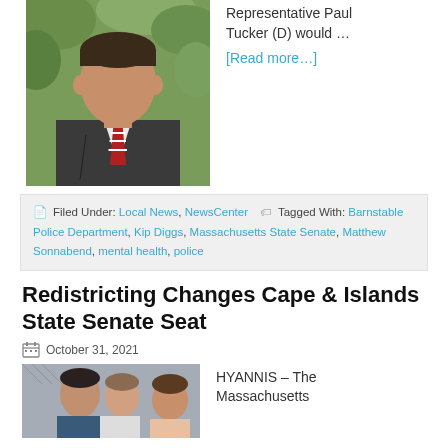[Figure (photo): Headshot of a man in a dark suit with a red and white striped tie, outdoors with green foliage background]
Representative Paul Tucker (D) would …
[Read more…]
Filed Under: Local News, NewsCenter   Tagged With: Barnstable Police Department, Kip Diggs, Massachusetts State Senate, Matthew Sonnabend, mental health, police
Redistricting Changes Cape & Islands State Senate Seat
October 31, 2021
[Figure (photo): Two or more people in an indoor setting, partial view]
HYANNIS – The Massachusetts